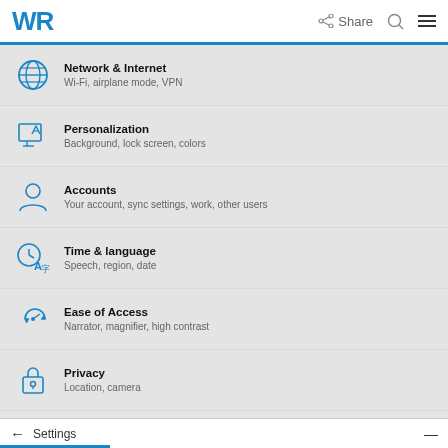WR | Share
[Figure (screenshot): Windows Settings menu screenshot showing: Network & Internet (Wi-Fi, airplane mode, VPN), Personalization (Background, lock screen, colors), Accounts (Your account, sync settings, work, other users), Time & language (Speech, region, date), Ease of Access (Narrator, magnifier, high contrast), Privacy (Location, camera), Update & security (Windows Update, recovery, backup)]
Select Apps and Features
Settings —